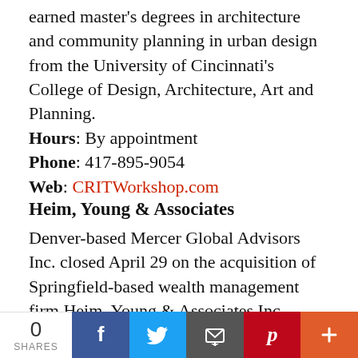earned master's degrees in architecture and community planning in urban design from the University of Cincinnati's College of Design, Architecture, Art and Planning.
Hours: By appointment
Phone: 417-895-9054
Web: CRITWorkshop.com
Heim, Young & Associates
Denver-based Mercer Global Advisors Inc. closed April 29 on the acquisition of Springfield-based wealth management firm Heim, Young & Associates Inc. Financial terms were not disclosed by company officials for the deal, in which Mercer